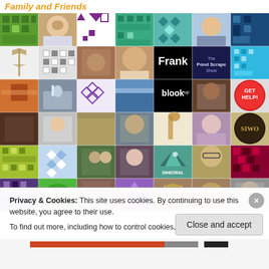Family and Friends
[Figure (photo): Grid of profile pictures and avatar tiles for Family and Friends social media followers, arranged in a 7-column grid with photos, geometric patterns, and logos including 'Frank', 'blookup', 'The Pond Scrape Show', 'DIHEDRAL', 'GET HELP!', 'SIWO']
Privacy & Cookies: This site uses cookies. By continuing to use this website, you agree to their use.
To find out more, including how to control cookies, see here: Cookie Policy
Close and accept